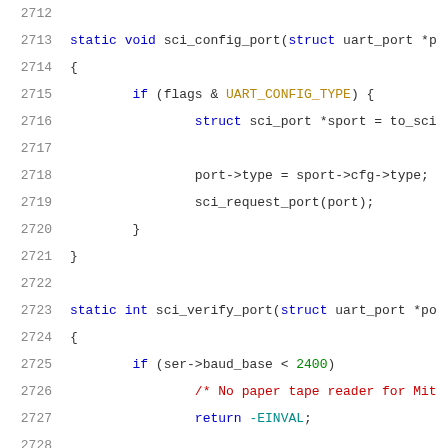[Figure (screenshot): Source code listing showing lines 2712-2732 of a C file, displaying functions sci_config_port, sci_verify_port, and the beginning of static const struct uart_ops sci_uart_ops definition, with syntax highlighting on a white background.]